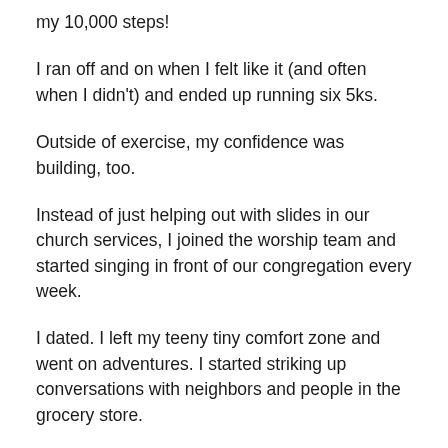my 10,000 steps!
I ran off and on when I felt like it (and often when I didn't) and ended up running six 5ks.
Outside of exercise, my confidence was building, too.
Instead of just helping out with slides in our church services, I joined the worship team and started singing in front of our congregation every week.
I dated. I left my teeny tiny comfort zone and went on adventures. I started striking up conversations with neighbors and people in the grocery store.